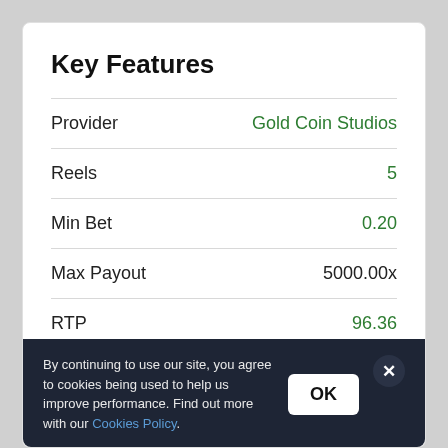Key Features
| Feature | Value |
| --- | --- |
| Provider | Gold Coin Studios |
| Reels | 5 |
| Min Bet | 0.20 |
| Max Payout | 5000.00x |
| RTP | 96.36 |
| Paylines | 20 |
| Max Bet | 50.00 |
| Variance | High |
By continuing to use our site, you agree to cookies being used to help us improve performance. Find out more with our Cookies Policy.